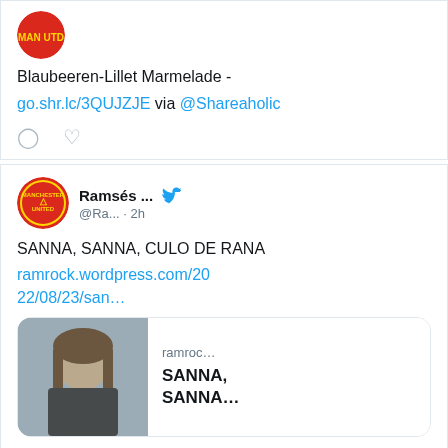Blaubeeren-Lillet Marmelade - go.shr.lc/3QUJZJE via @Shareaholic
Ramsés ... @Ra... · 2h
SANNA, SANNA, CULO DE RANA ramrock.wordpress.com/2022/08/23/san…
[Figure (screenshot): Link preview card showing a photo of a woman and text ramroc... SANNA, SANNA...]